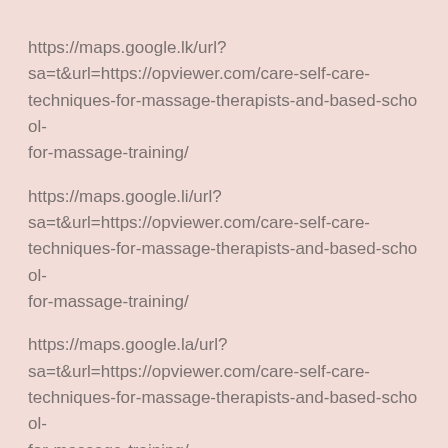https://maps.google.lk/url?sa=t&url=https://opviewer.com/care-self-care-techniques-for-massage-therapists-and-based-school-for-massage-training/
https://maps.google.li/url?sa=t&url=https://opviewer.com/care-self-care-techniques-for-massage-therapists-and-based-school-for-massage-training/
https://maps.google.la/url?sa=t&url=https://opviewer.com/care-self-care-techniques-for-massage-therapists-and-based-school-for-massage-training/
https://maps.google.kz/url?sa=t&url=https://opviewer.com/care-self-care-techniques-for-massage-therapists-and-based-school-for-massage-training/
https://maps.google.kg/url?